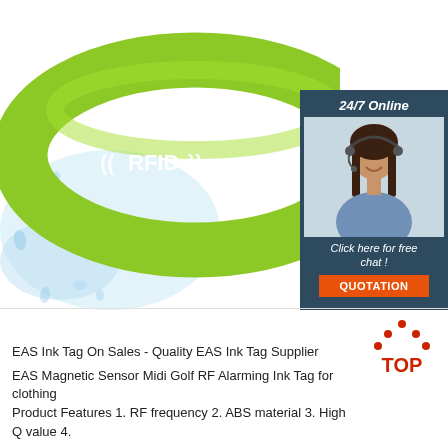[Figure (photo): Green RFID silicone wristband with water splash background and white RFID text/symbol on band. A customer service representative overlay in top-right with '24/7 Online' text, a woman with headset, 'Click here for free chat!' text, and an orange QUOTATION button. A red TOP logo with dot pattern in lower right.]
EAS Ink Tag On Sales - Quality EAS Ink Tag Supplier
EAS Magnetic Sensor Midi Golf RF Alarming Ink Tag for clothing Product Features 1. RF frequency 2. ABS material 3. High Q value 4.